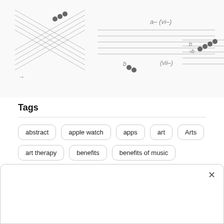[Figure (illustration): Music notation / sheet music diagram showing staff lines with notes and Roman numeral chord annotations (vi-, vii-) in three panels]
Tags
abstract
apple watch
apps
art
Arts
art therapy
benefits
benefits of music
casino
children
design
entertainment